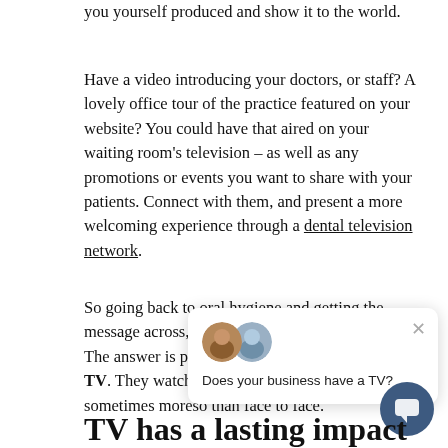you yourself produced and show it to the world.
Have a video introducing your doctors, or staff? A lovely office tour of the practice featured on your website? You could have that aired on your waiting room's television – as well as any promotions or events you want to share with your patients. Connect with them, and present a more welcoming experience through a dental television network.
So going back to oral hygiene and getting the message across, how i… The answer is pretty s… TV. They watch it, and … sometimes moreso than face to face.
TV has a lasting impact